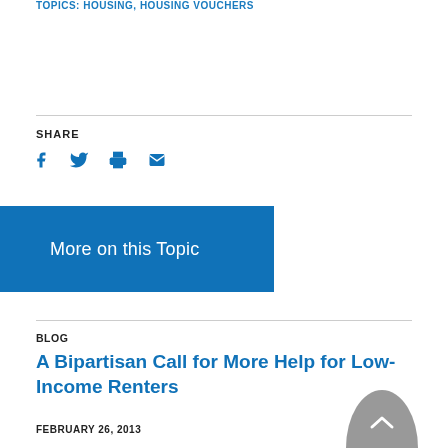TOPICS: HOUSING, HOUSING VOUCHERS
SHARE
[Figure (infographic): Social share icons: Facebook, Twitter, Print, Email]
More on this Topic
BLOG
A Bipartisan Call for More Help for Low-Income Renters
FEBRUARY 26, 2013